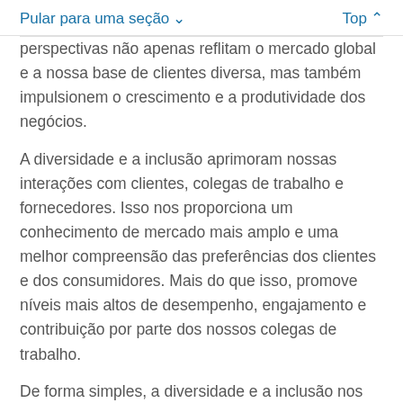Pular para uma seção ∨   Top ∧
perspectivas não apenas reflitam o mercado global e a nossa base de clientes diversa, mas também impulsionem o crescimento e a produtividade dos negócios.
A diversidade e a inclusão aprimoram nossas interações com clientes, colegas de trabalho e fornecedores. Isso nos proporciona um conhecimento de mercado mais amplo e uma melhor compreensão das preferências dos clientes e dos consumidores. Mais do que isso, promove níveis mais altos de desempenho, engajamento e contribuição por parte dos nossos colegas de trabalho.
De forma simples, a diversidade e a inclusão nos permitem estar mais bem preparados para atender nossos mercados, aumentando nossa capacidade de